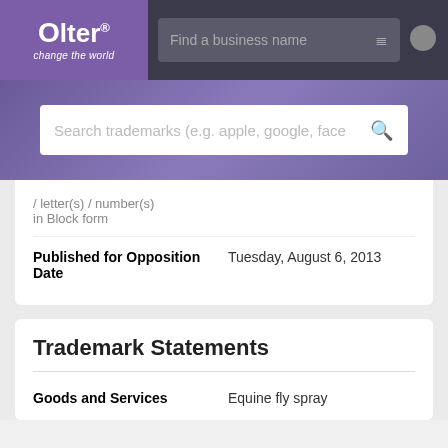[Figure (screenshot): Alter brand logo with tagline 'change the world' on purple background]
Find a business name
/ letter(s) / number(s) in Block form
| Field | Value |
| --- | --- |
| Published for Opposition Date | Tuesday, August 6, 2013 |
Trademark Statements
| Field | Value |
| --- | --- |
| Goods and Services | Equine fly spray |